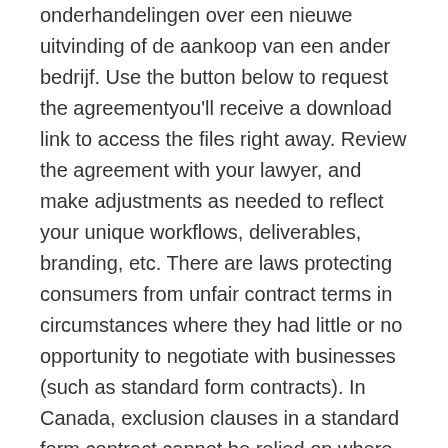onderhandelingen over een nieuwe uitvinding of de aankoop van een ander bedrijf. Use the button below to request the agreementyou'll receive a download link to access the files right away. Review the agreement with your lawyer, and make adjustments as needed to reflect your unique workflows, deliverables, branding, etc. There are laws protecting consumers from unfair contract terms in circumstances where they had little or no opportunity to negotiate with businesses (such as standard form contracts). In Canada, exclusion clauses in a standard form contract cannot be relied on where a seller knows or has reason to know a purchaser is mistaken as to its terms (Tilden Rent-A-Car Co. v. Clendenning). The Bureau Agreement is a collaboration between Gabe Levine and Josh Barrett